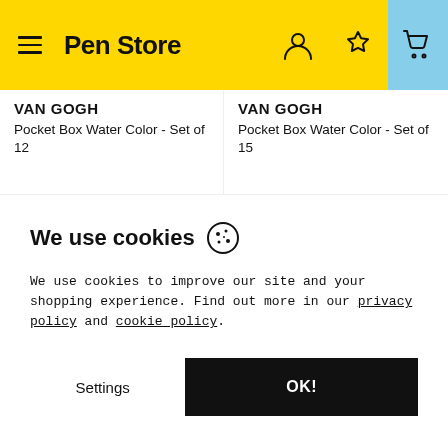Pen Store
VAN GOGH
Pocket Box Water Color - Set of 12
VAN GOGH
Pocket Box Water Color - Set of 15
We use cookies
We use cookies to improve our site and your shopping experience. Find out more in our privacy policy and cookie policy.
Settings
OK!